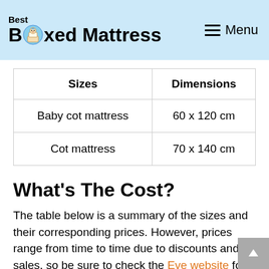Best Boxed Mattress — Menu
| Sizes | Dimensions |
| --- | --- |
| Baby cot mattress | 60 x 120 cm |
| Cot mattress | 70 x 140 cm |
What's The Cost?
The table below is a summary of the sizes and their corresponding prices. However, prices range from time to time due to discounts and sales, so be sure to check the Eve website for real-time